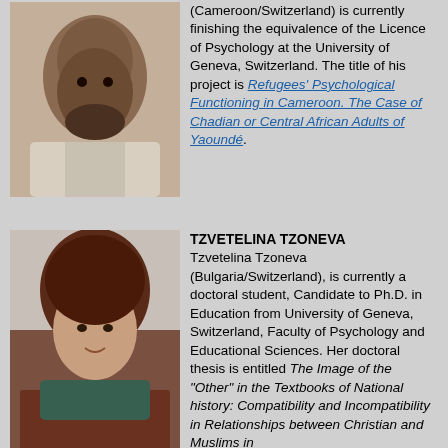[Figure (photo): Portrait photo of a man from Cameroon/Switzerland]
(Cameroon/Switzerland) is currently finishing the equivalence of the Licence of Psychology at the University of Geneva, Switzerland. The title of his project is Refugees' Psychological Functioning in Cameroon. The Case of Chadian or Central African Adults of Yaoundé.
[Figure (photo): Portrait photo of Tzvetelina Tzoneva]
TZVETELINA TZONEVA Tzvetelina Tzoneva (Bulgaria/Switzerland), is currently a doctoral student, Candidate to Ph.D. in Education from University of Geneva, Switzerland, Faculty of Psychology and Educational Sciences. Her doctoral thesis is entitled The Image of the "Other" in the Textbooks of National history: Compatibility and Incompatibility in Relationships between Christian and Muslims in